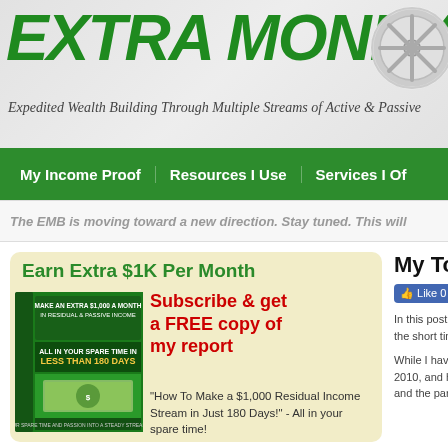EXTRA MONEY BLO[G]
Expedited Wealth Building Through Multiple Streams of Active & Passive [Income]
My Income Proof | Resources I Use | Services I Of[fer]
The EMB is moving toward a new direction. Stay tuned. This will [...]
Earn Extra $1K Per Month
Subscribe & get a FREE copy of my report
"How To Make a $1,000 Residual Income Stream in Just 180 Days!" - All in your spare time!
[Figure (photo): Book cover: Make An Extra $1,000 A Month In Residual & Passive Income All In Your Spare Time In Less Than 180 Days]
My Top Eff[orts]
Like 0
In this post I want [to...] the short time tha[t...]
While I have been [blogging since] 2010, and have s[...] and the participat[...]